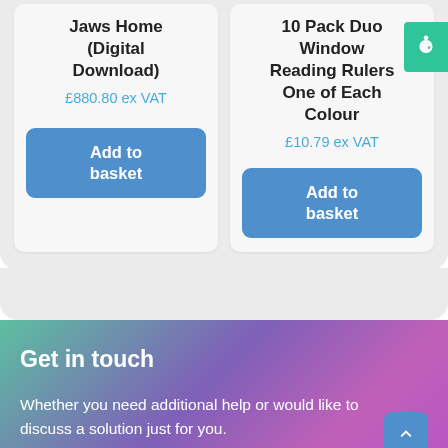Jaws Home (Digital Download)
£880.80 ex VAT
Add to basket
10 Pack Duo Window Reading Rulers One of Each Colour
£10.79 ex VAT
Add to basket
Get in touch
Whether you need additional help or would like to discuss a solution just for you.